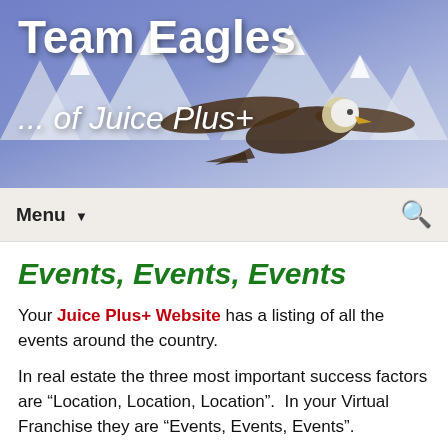[Figure (illustration): Team Eagles of Juice Plus+ website header banner with a bald eagle flying in front of snow-capped mountains with a purple-blue sky background]
Team Eagles
... of Juice Plus+
Menu ▼
Events, Events, Events
Your Juice Plus+ Website has a listing of all the events around the country.
In real estate the three most important success factors are “Location, Location, Location”.  In your Virtual Franchise they are “Events, Events, Events”.
If Preferred Customers are the “life-blood” of